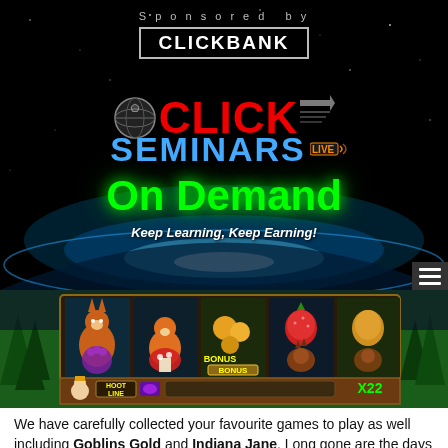[Figure (infographic): Click Seminars Live On Demand advertisement banner sponsored by ClickBank. Dark space background with globe logo, CLICK text in red, SEMINARS in blue, On Demand in green glowing text, and tagline Keep Learning, Keep Earning!]
[Figure (screenshot): Slot machine game screenshot showing colorful animal symbols (fox, fruits, mushroom, beaver), HOOT LINE label, X22 multiplier, on a forest background.]
We have carefully collected your favourite games to play as well including Goblins Gold and Indiana Jane. Long gone are the days when all you had to